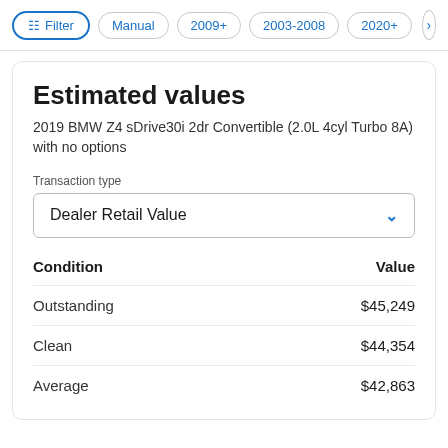Filter | Manual | 2009+ | 2003-2008 | 2020+ >
Estimated values
2019 BMW Z4 sDrive30i 2dr Convertible (2.0L 4cyl Turbo 8A) with no options
Transaction type
Dealer Retail Value
| Condition | Value |
| --- | --- |
| Outstanding | $45,249 |
| Clean | $44,354 |
| Average | $42,863 |